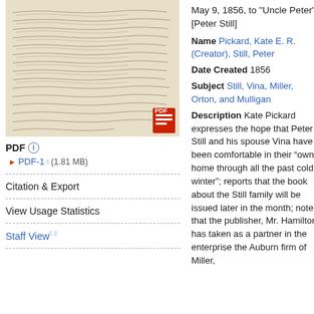[Figure (photo): Scanned handwritten manuscript letter with cursive text, aged paper appearance. A red PDF icon is overlaid in the bottom-right corner.]
PDF
PDF-1 (1.81 MB)
Citation & Export
View Usage Statistics
Staff View
May 9, 1856, to "Uncle Peter" [Peter Still]
Name Pickard, Kate E. R. (Creator), Still, Peter
Date Created 1856
Subject Still, Vina, Miller, Orton, and Mulligan
Description Kate Pickard expresses the hope that Peter Still and his spouse Vina have been comfortable in their “own home through all the past cold winter”; reports that the book about the Still family will be issued later in the month; notes that the publisher, Mr. Hamilton, has taken as a partner in the enterprise the Auburn firm of Miller,